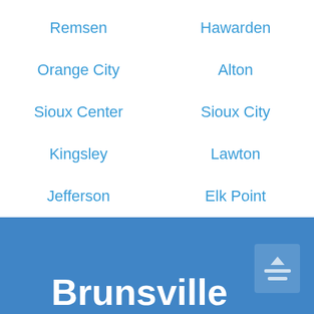Remsen
Hawarden
Orange City
Alton
Sioux Center
Sioux City
Kingsley
Lawton
Jefferson
Elk Point
Brunsville